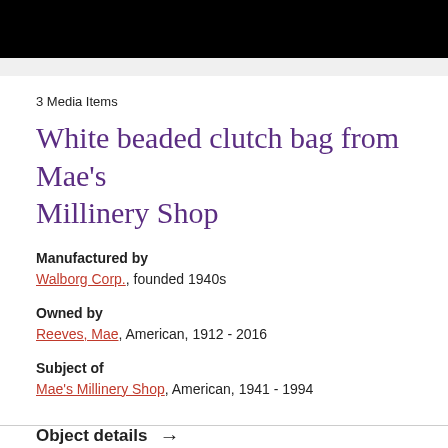[Figure (photo): Black bar at top of page (decorative/header image)]
3 Media Items
White beaded clutch bag from Mae’s Millinery Shop
Manufactured by
Walborg Corp., founded 1940s
Owned by
Reeves, Mae, American, 1912 - 2016
Subject of
Mae’s Millinery Shop, American, 1941 - 1994
Object details →